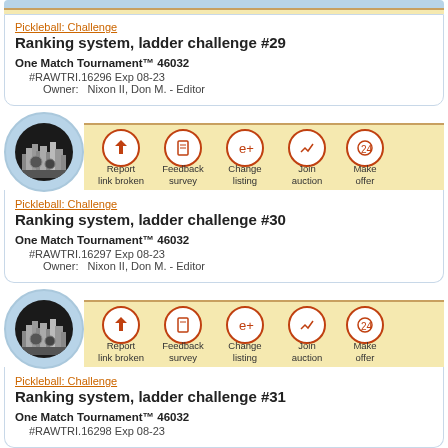Pickleball: Challenge
Ranking system, ladder challenge #29
One Match Tournament™ 46032
#RAWTRI.16296 Exp 08-23
Owner: Nixon II, Don M. - Editor
[Figure (infographic): Action bar with city/sports logo icon and 5 circular action icons: Report link broken, Feedback survey, Change listing, Join auction, Make offer]
Pickleball: Challenge
Ranking system, ladder challenge #30
One Match Tournament™ 46032
#RAWTRI.16297 Exp 08-23
Owner: Nixon II, Don M. - Editor
[Figure (infographic): Action bar with city/sports logo icon and 5 circular action icons: Report link broken, Feedback survey, Change listing, Join auction, Make offer]
Pickleball: Challenge
Ranking system, ladder challenge #31
One Match Tournament™ 46032
#RAWTRI.16298 Exp 08-23